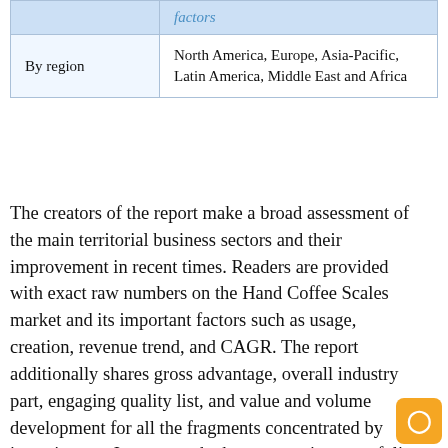|  | factors |
| --- | --- |
| By region | North America, Europe, Asia-Pacific, Latin America, Middle East and Africa |
The creators of the report make a broad assessment of the main territorial business sectors and their improvement in recent times. Readers are provided with exact raw numbers on the Hand Coffee Scales market and its important factors such as usage, creation, revenue trend, and CAGR. The report additionally shares gross advantage, overall industry part, engaging quality list, and value and volume development for all the fragments concentrated by investigators. It presents the key events, item portfolio, showcases which are served and different regions which depicts the business development of huge